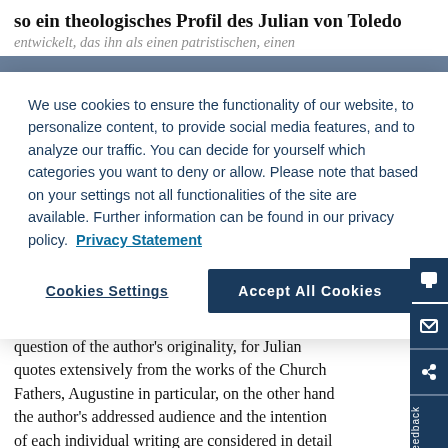so ein theologisches Profil des Julian von Toledo
entwickelt, das ihn als einen patristischen, einen
We use cookies to ensure the functionality of our website, to personalize content, to provide social media features, and to analyze our traffic. You can decide for yourself which categories you want to deny or allow. Please note that based on your settings not all functionalities of the site are available. Further information can be found in our privacy policy. Privacy Statement
Cookies Settings
Accept All Cookies
are analysed in detail. This includes his non-theological as well as his theological works. While, on the one hand, the analysis focusses on the question of the author's originality, for Julian quotes extensively from the works of the Church Fathers, Augustine in particular, on the other hand the author's addressed audience and the intention of each individual writing are considered in detail as well. As conclusion, Julian's profile as theologian